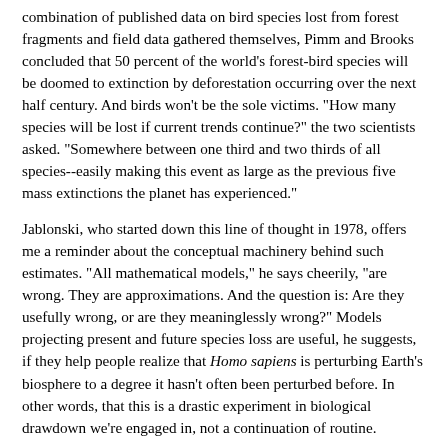combination of published data on bird species lost from forest fragments and field data gathered themselves, Pimm and Brooks concluded that 50 percent of the world's forest-bird species will be doomed to extinction by deforestation occurring over the next half century. And birds won't be the sole victims. "How many species will be lost if current trends continue?" the two scientists asked. "Somewhere between one third and two thirds of all species--easily making this event as large as the previous five mass extinctions the planet has experienced."
Jablonski, who started down this line of thought in 1978, offers me a reminder about the conceptual machinery behind such estimates. "All mathematical models," he says cheerily, "are wrong. They are approximations. And the question is: Are they usefully wrong, or are they meaninglessly wrong?" Models projecting present and future species loss are useful, he suggests, if they help people realize that Homo sapiens is perturbing Earth's biosphere to a degree it hasn't often been perturbed before. In other words, that this is a drastic experiment in biological drawdown we're engaged in, not a continuation of routine.
Behind the projections of species loss lurk a number of crucial but hard-to-plot variables, among which two are especially weighty: continuing landscape conversion and the growth curve of human population.